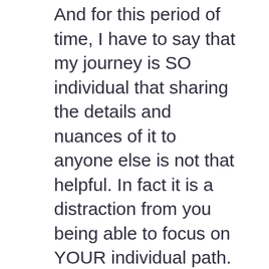And for this period of time, I have to say that my journey is SO individual that sharing the details and nuances of it to anyone else is not that helpful. In fact it is a distraction from you being able to focus on YOUR individual path. And I would go so far as to say that for whatever period of time it takes us to go through this transition, it's actually rude to interject my very subjective experiences.
So… I come to the point of this post. It is my intention… my deliberate